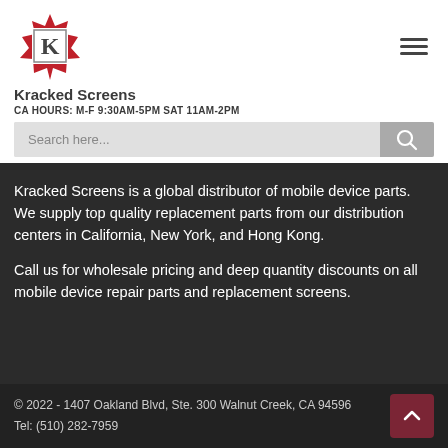[Figure (logo): Kracked Screens logo: red starburst badge with letter K inside a square frame]
Kracked Screens
CA HOURS: M-F 9:30AM-5PM SAT 11AM-2PM
Search here...
Kracked Screens is a global distributor of mobile device parts. We supply top quality replacement parts from our distribution centers in California, New York, and Hong Kong.
Call us for wholesale pricing and deep quantity discounts on all mobile device repair parts and replacement screens.
© 2022 - 1407 Oakland Blvd, Ste. 300 Walnut Creek, CA 94596
Tel: (510) 282-7959